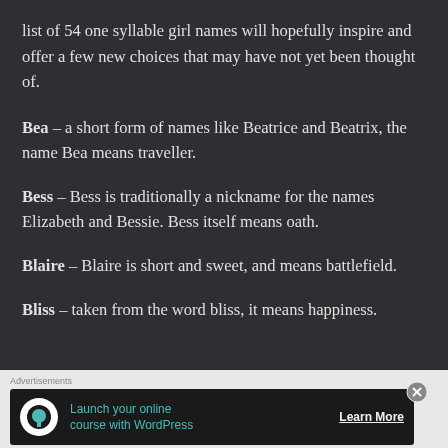list of 54 one syllable girl names will hopefully inspire and offer a few new choices that may have not yet been thought of.
Bea – a short form of names like Beatrice and Beatrix, the name Bea means traveller.
Bess – Bess is traditionally a nickname for the names Elizabeth and Bessie. Bess itself means oath.
Blaire – Blaire is short and sweet, and means battlefield.
Bliss – taken from the word bliss, it means happiness.
[Figure (infographic): Advertisement banner with dark background showing 'Launch your online course with WordPress' with a Learn More button and Teachable-style icon]